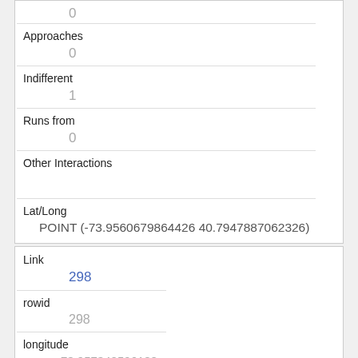|  | 0 |
| Approaches | 0 |
| Indifferent | 1 |
| Runs from | 0 |
| Other Interactions |  |
| Lat/Long | POINT (-73.9560679864426 40.7947887062326) |
| Link | 298 |
| rowid | 298 |
| longitude | -73.957342596188 |
| latitude | 40.7944359654227 |
| Unique Squirrel ID |  |